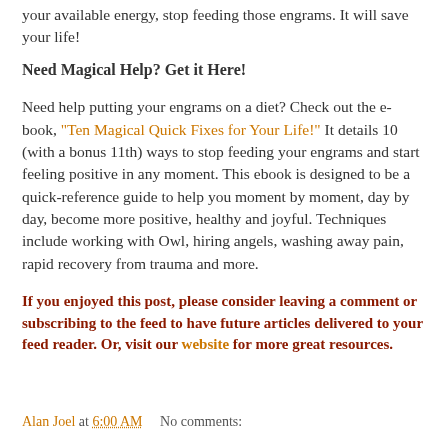your available energy, stop feeding those engrams. It will save your life!
Need Magical Help? Get it Here!
Need help putting your engrams on a diet? Check out the e-book, "Ten Magical Quick Fixes for Your Life!" It details 10 (with a bonus 11th) ways to stop feeding your engrams and start feeling positive in any moment. This ebook is designed to be a quick-reference guide to help you moment by moment, day by day, become more positive, healthy and joyful. Techniques include working with Owl, hiring angels, washing away pain, rapid recovery from trauma and more.
If you enjoyed this post, please consider leaving a comment or subscribing to the feed to have future articles delivered to your feed reader. Or, visit our website for more great resources.
Alan Joel at 6:00 AM    No comments: